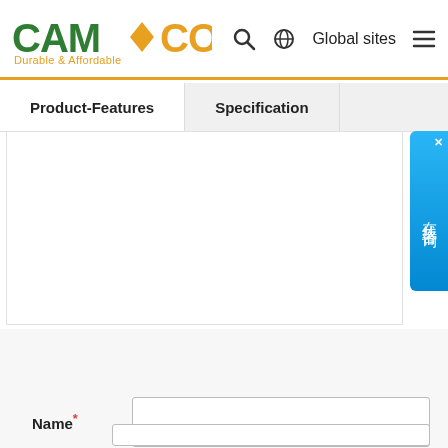[Figure (logo): CAMCO logo with green CAM and orange CO text, diamond shape, tagline Durable & Affordable]
Global sites  ≡
Product-Features    Specification
[Figure (screenshot): Empty white content area below navigation tabs]
Name*